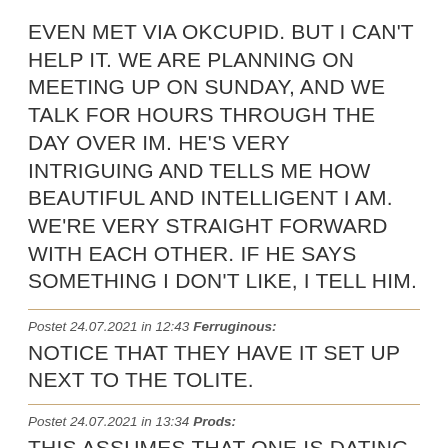EVEN MET VIA OKCUPID. BUT I CAN'T HELP IT. WE ARE PLANNING ON MEETING UP ON SUNDAY, AND WE TALK FOR HOURS THROUGH THE DAY OVER IM. HE'S VERY INTRIGUING AND TELLS ME HOW BEAUTIFUL AND INTELLIGENT I AM. WE'RE VERY STRAIGHT FORWARD WITH EACH OTHER. IF HE SAYS SOMETHING I DON'T LIKE, I TELL HIM.
Postet 24.07.2021 in 12:43 Ferruginous: NOTICE THAT THEY HAVE IT SET UP NEXT TO THE TOLITE.
Postet 24.07.2021 in 13:34 Prods: THIS ASSUMES THAT ONE IS DATING WITH THE INTENT OF FINDING A LIFE PARTNER. IF